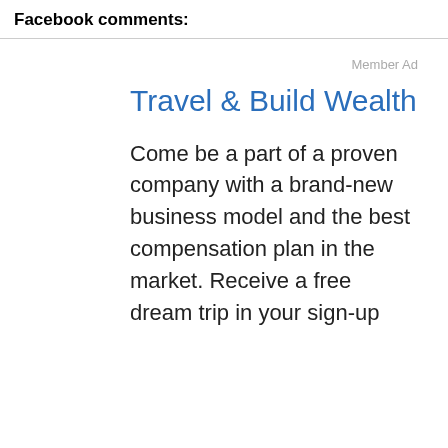Facebook comments:
Member Ad
Travel & Build Wealth
Come be a part of a proven company with a brand-new business model and the best compensation plan in the market. Receive a free dream trip in your sign-up